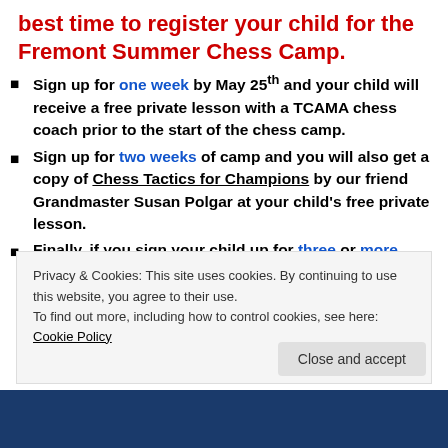best time to register your child for the Fremont Summer Chess Camp.
Sign up for one week by May 25th and your child will receive a free private lesson with a TCAMA chess coach prior to the start of the chess camp.
Sign up for two weeks of camp and you will also get a copy of Chess Tactics for Champions by our friend Grandmaster Susan Polgar at your child's free private lesson.
Finally, if you sign your child up for three or more
Privacy & Cookies: This site uses cookies. By continuing to use this website, you agree to their use. To find out more, including how to control cookies, see here: Cookie Policy
Close and accept